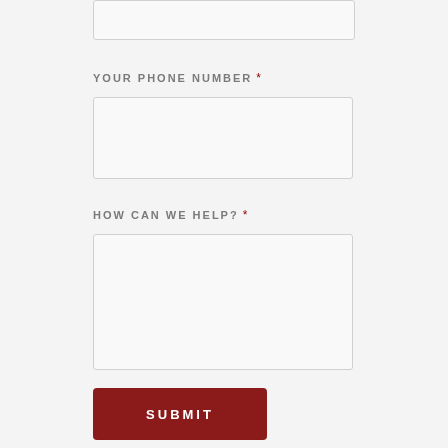[Figure (screenshot): Top portion of a previous form field (partially visible input box at top of page)]
YOUR PHONE NUMBER *
[Figure (screenshot): Empty text input field for phone number]
HOW CAN WE HELP? *
[Figure (screenshot): Large empty textarea for message input]
SUBMIT